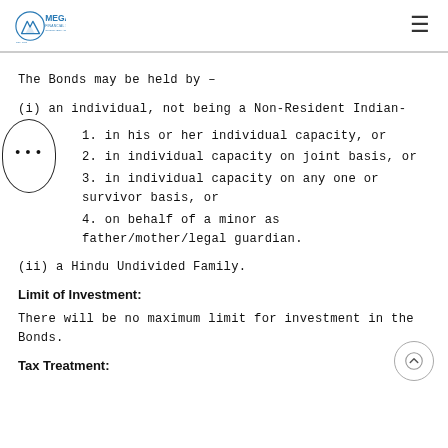MEGA FINANCIAL SERVICES
The Bonds may be held by –
(i) an individual, not being a Non-Resident Indian-
1. in his or her individual capacity, or
2. in individual capacity on joint basis, or
3. in individual capacity on any one or survivor basis, or
4. on behalf of a minor as father/mother/legal guardian.
(ii) a Hindu Undivided Family.
Limit of Investment:
There will be no maximum limit for investment in the Bonds.
Tax Treatment: